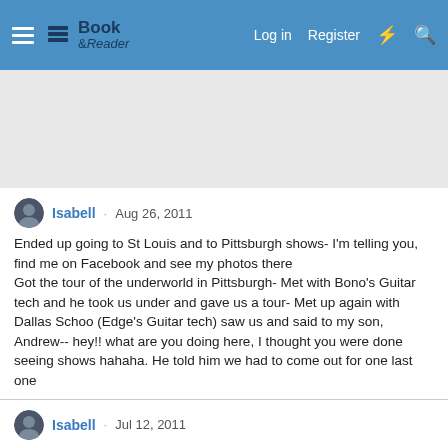Book & Reader — Log in  Register
[Figure (other): Gray advertisement placeholder area]
Isabell · Aug 26, 2011
Ended up going to St Louis and to Pittsburgh shows- I'm telling you, find me on Facebook and see my photos there
Got the tour of the underworld in Pittsburgh- Met with Bono's Guitar tech and he took us under and gave us a tour- Met up again with Dallas Schoo (Edge's Guitar tech) saw us and said to my son, Andrew-- hey!! what are you doing here, I thought you were done seeing shows hahaha. He told him we had to come out for one last one
Isabell · Jul 12, 2011
Epic Show in Chicago last week- OTH was played at the last